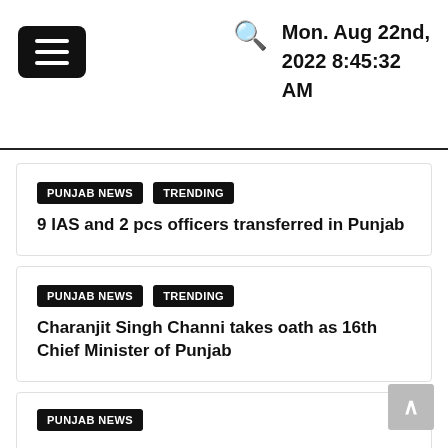Mon. Aug 22nd, 2022 8:45:32 AM
9 IAS and 2 pcs officers transferred in Punjab
Charanjit Singh Channi takes oath as 16th Chief Minister of Punjab
PUNJAB NEWS